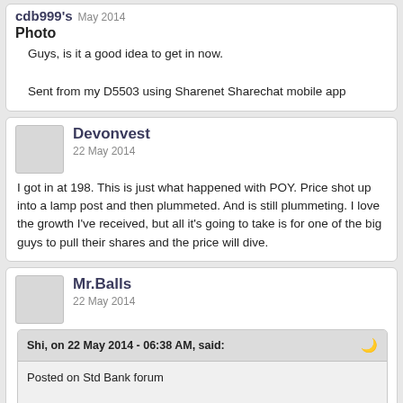cdb999's May 2014
Photo
Guys, is it a good idea to get in now.

Sent from my D5503 using Sharenet Sharechat mobile app
Devonvest
22 May 2014
I got in at 198. This is just what happened with POY. Price shot up into a lamp post and then plummeted. And is still plummeting. I love the growth I've received, but all it's going to take is for one of the big guys to pull their shares and the price will dive.
Mr.Balls
22 May 2014
Shi, on 22 May 2014 - 06:38 AM, said:
Posted on Std Bank forum

"There are talks in the market that advanced health in talks to buy out Medicross and Lesedi Clinics . Anyone who has more information?  "